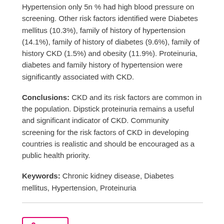Hypertension only 5n % had high blood pressure on screening. Other risk factors identified were Diabetes mellitus (10.3%), family of history of hypertension (14.1%), family of history of diabetes (9.6%), family of history CKD (1.5%) and obesity (11.9%). Proteinuria, diabetes and family history of hypertension were significantly associated with CKD.
Conclusions: CKD and its risk factors are common in the population. Dipstick proteinuria remains a useful and significant indicator of CKD. Community screening for the risk factors of CKD in developing countries is realistic and should be encouraged as a public health priority.
Keywords: Chronic kidney disease, Diabetes mellitus, Hypertension, Proteinuria
[Figure (other): PDF download button with lock icon]